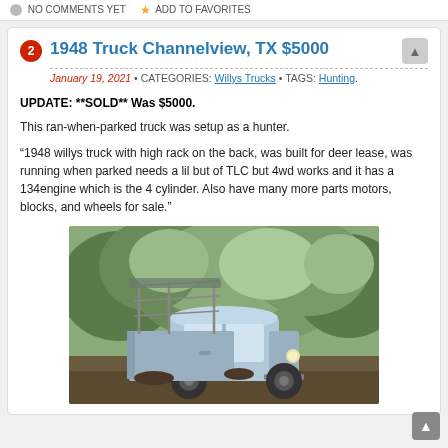NO COMMENTS YET   ADD TO FAVORITES
1948 Truck Channelview, TX $5000
January 19, 2021 • CATEGORIES: Willys Trucks • TAGS: Hunting.
UPDATE: **SOLD** Was $5000.
This ran-when-parked truck was setup as a hunter.
“1948 willys truck with high rack on the back, was built for deer lease, was running when parked needs a lil but of TLC but 4wd works and it has a 134engine which is the 4 cylinder. Also have many more parts motors, blocks, and wheels for sale.”
[Figure (photo): Photo of a 1948 Willys truck parked outdoors among trees and vegetation, light blue color with a high rack on the back]